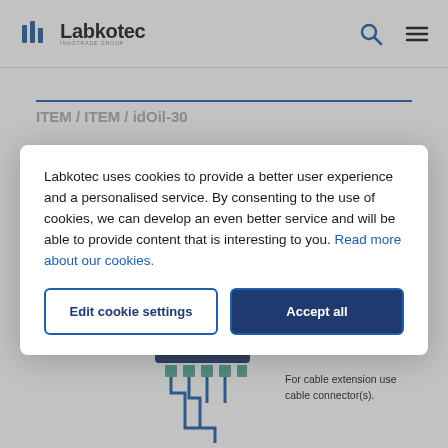[Figure (logo): Labkotec logo with blue parallel lines icon and text 'Labkotec' in bold, with 'INNOTRADE GROUP' subtitle]
Labkotec uses cookies to provide a better user experience and a personalised service. By consenting to the use of cookies, we can develop an even better service and will be able to provide content that is interesting to you. Read more about our cookies.
Edit cookie settings
Accept all
[Figure (illustration): Engineering diagram showing idOil-30 device with cables. Label 'idOil-30' next to device. Text: 'For cable extension use cable connector(s).']